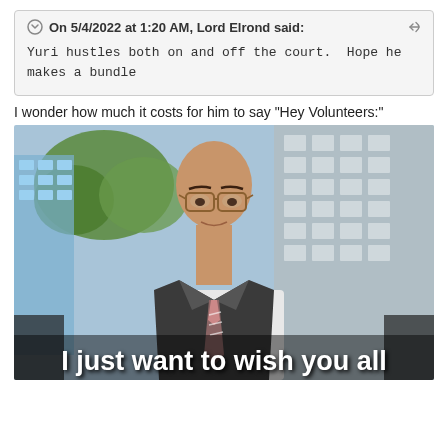On 5/4/2022 at 1:20 AM, Lord Elrond said: Yuri hustles both on and off the court.  Hope he makes a bundle
I wonder how much it costs for him to say "Hey Volunteers:"
[Figure (photo): A man in a suit and tie with glasses speaking, with a city building and trees in the background. Subtitle text at the bottom reads: I just want to wish you all]